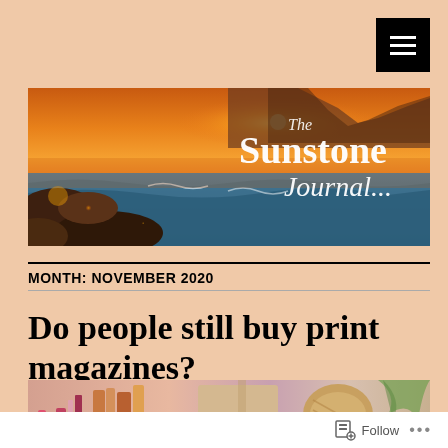[Figure (screenshot): Hamburger menu icon (three horizontal white lines on black background) in top right corner]
[Figure (photo): The Sunstone Journal banner: sunset over rocky coastline with ocean waves. Text overlay reads 'The Sunstone Journal' in white serif font on right side.]
MONTH: NOVEMBER 2020
Do people still buy print magazines?
[Figure (photo): Partial photo of magazines and books arranged on a shelf or surface, colorful spines visible.]
Follow ...